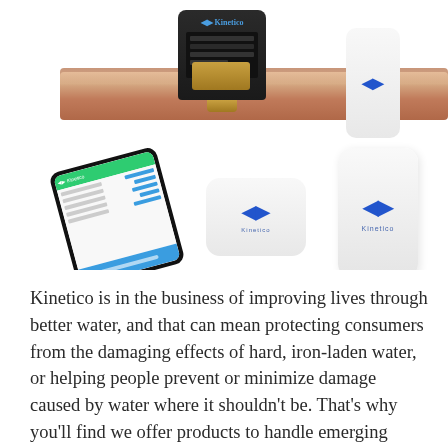[Figure (photo): Product photo showing Kinetico smart water monitoring devices: a black main sensor unit clamped onto a copper pipe, a smartphone displaying the Kinetico app with green header and data rows, a small white oval Kinetico hub device, and a taller white rectangular Kinetico sensor device. All devices show the Kinetico logo in blue.]
Kinetico is in the business of improving lives through better water, and that can mean protecting consumers from the damaging effects of hard, iron-laden water, or helping people prevent or minimize damage caused by water where it shouldn't be. That's why you'll find we offer products to handle emerging water issues such as chloramine, viruses and